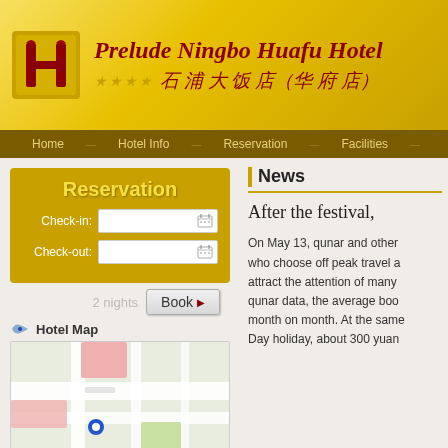[Figure (screenshot): Hotel header with logo (red H on yellow background), hotel name in English and Chinese, four star rating]
Prelude Ningbo Huafu Hotel
石浦大饭店（华府店）
Home   Hotel Info   Reservation   Facilities
Reservation
Check-in:
Check-out:
2 nights
Book ▶
Hotel Map
[Figure (map): Street map thumbnail showing hotel location]
News
After the festival,
On May 13, qunar and other who choose off peak travel a attract the attention of many qunar data, the average boo month on month. At the same Day holiday, about 300 yuan